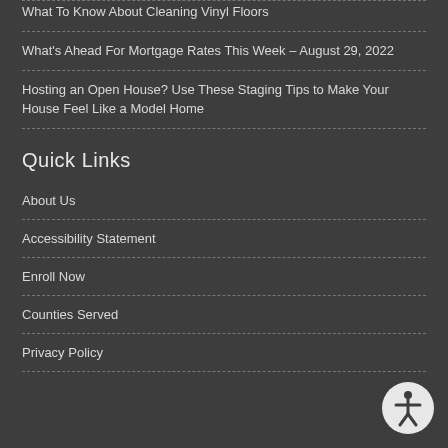What To Know About Cleaning Vinyl Floors
What's Ahead For Mortgage Rates This Week – August 29, 2022
Hosting an Open House? Use These Staging Tips to Make Your House Feel Like a Model Home
Quick Links
About Us
Accessibility Statement
Enroll Now
Counties Served
Privacy Policy